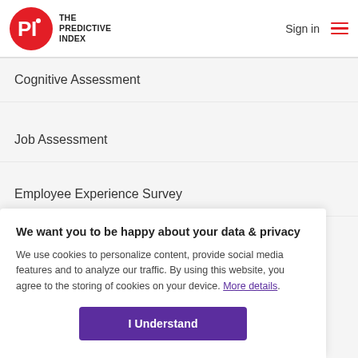The Predictive Index — Sign in
Cognitive Assessment
Job Assessment
Employee Experience Survey
We want you to be happy about your data & privacy
We use cookies to personalize content, provide social media features and to analyze our traffic. By using this website, you agree to the storing of cookies on your device. More details.
I Understand